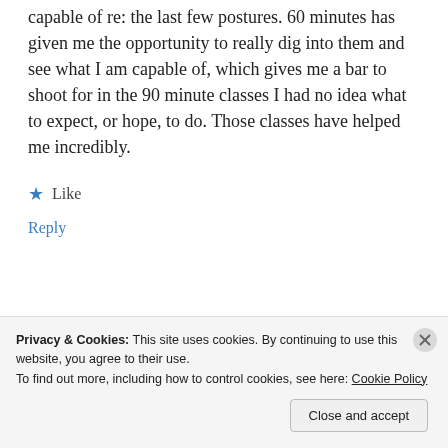capable of re: the last few postures. 60 minutes has given me the opportunity to really dig into them and see what I am capable of, which gives me a bar to shoot for in the 90 minute classes I had no idea what to expect, or hope, to do. Those classes have helped me incredibly.
★ Like
Reply
[Figure (photo): Small dark thumbnail image partially visible]
Privacy & Cookies: This site uses cookies. By continuing to use this website, you agree to their use.
To find out more, including how to control cookies, see here: Cookie Policy
Close and accept